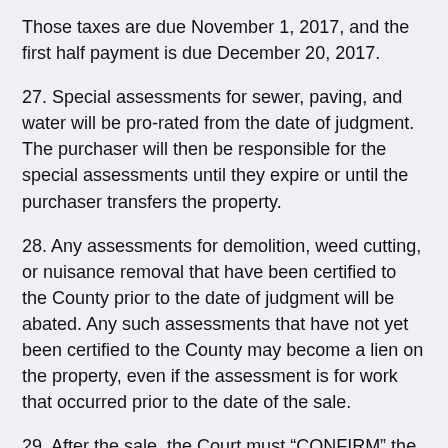Those taxes are due November 1, 2017, and the first half payment is due December 20, 2017.
27. Special assessments for sewer, paving, and water will be pro-rated from the date of judgment. The purchaser will then be responsible for the special assessments until they expire or until the purchaser transfers the property.
28. Any assessments for demolition, weed cutting, or nuisance removal that have been certified to the County prior to the date of judgment will be abated. Any such assessments that have not yet been certified to the County may become a lien on the property, even if the assessment is for work that occurred prior to the date of the sale.
29. After the sale, the Court must “CONFIRM” the sale and authorize the Sheriff to issue the deeds. As part of this process, the Sheriff must prepare and file a sales return with the Court. Thereafter the County Counselor will file a Motion